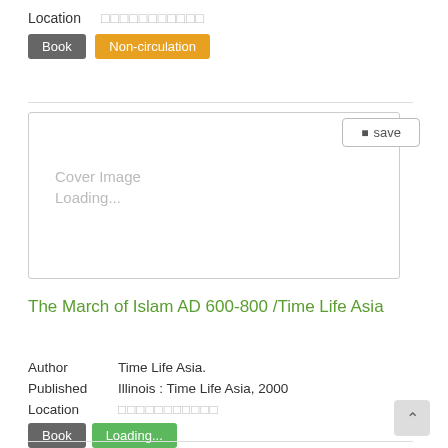Location   □□□□□□□□□□□
Book   Non-circulation
[Figure (screenshot): Card box with border showing Cover Image Loading... placeholder and a save button]
The March of Islam AD 600-800 /Time Life Asia
Author   Time Life Asia.
Published   Illinois : Time Life Asia, 2000
Location   □□□□□□□□□□□
Book   Loading...